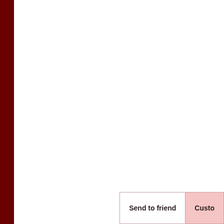[Figure (other): Dark red vertical bar on the left side of the page]
Send to friend
Custo